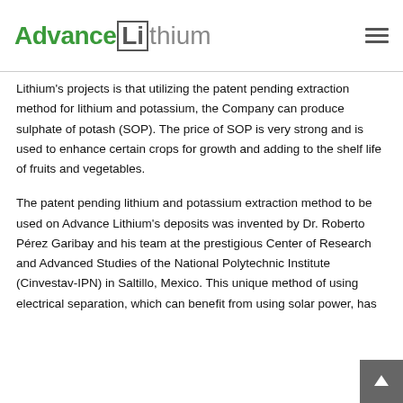Advance Lithium
Lithium's projects is that utilizing the patent pending extraction method for lithium and potassium, the Company can produce sulphate of potash (SOP). The price of SOP is very strong and is used to enhance certain crops for growth and adding to the shelf life of fruits and vegetables.
The patent pending lithium and potassium extraction method to be used on Advance Lithium's deposits was invented by Dr. Roberto Pérez Garibay and his team at the prestigious Center of Research and Advanced Studies of the National Polytechnic Institute (Cinvestav-IPN) in Saltillo, Mexico. This unique method of using electrical separation, which can benefit from using solar power, has